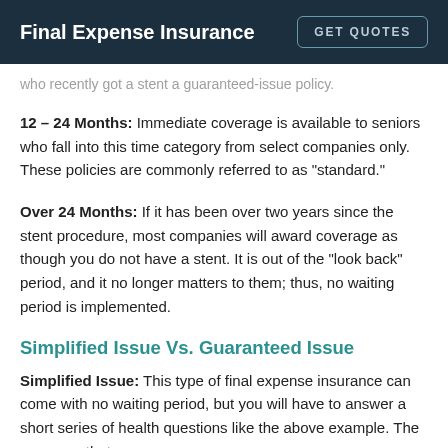Final Expense Insurance | GET QUOTES
who recently got a stent a guaranteed-issue policy.
12 – 24 Months: Immediate coverage is available to seniors who fall into this time category from select companies only. These policies are commonly referred to as “standard.”
Over 24 Months: If it has been over two years since the stent procedure, most companies will award coverage as though you do not have a stent. It is out of the “look back” period, and it no longer matters to them; thus, no waiting period is implemented.
Simplified Issue Vs. Guaranteed Issue
Simplified Issue: This type of final expense insurance can come with no waiting period, but you will have to answer a short series of health questions like the above example. The coverage that...